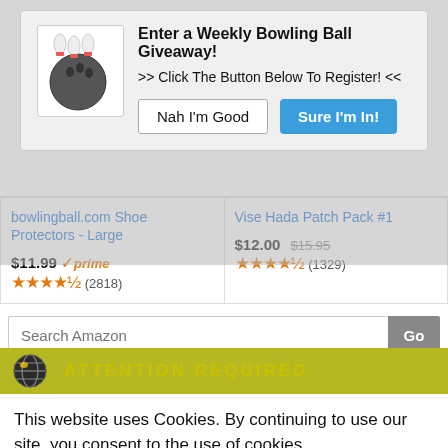[Figure (screenshot): Modal popup for a Weekly Bowling Ball Giveaway with bowling ball and pins icon, title, subtitle, and two buttons: Nah I'm Good and Sure I'm In!]
bowlingball.com Shoe Protectors - Large
$11.99 prime ★★★★½ (2818)
Vise Hada Patch Pack #1
$12.00 $15.95 ★★★★½ (1329)
Search Amazon Go
[Figure (screenshot): Cookie consent banner with globe icon, ATTENTION REQUIRED header, cookie policy text, Accept and Privacy Center buttons]
This website uses Cookies. By continuing to use our site, you consent to the use of cookies.
2019 Roth/Holman Doubles Stepladder Finals